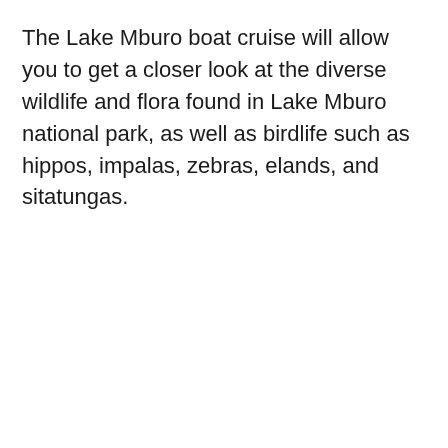The Lake Mburo boat cruise will allow you to get a closer look at the diverse wildlife and flora found in Lake Mburo national park, as well as birdlife such as hippos, impalas, zebras, elands, and sitatungas.